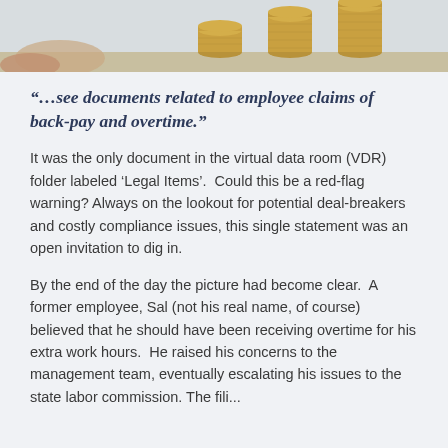[Figure (photo): Photo of stacked gold coins on a light background, bottom portion visible at the top of the page]
“…see documents related to employee claims of back-pay and overtime.”
It was the only document in the virtual data room (VDR) folder labeled ‘Legal Items’.  Could this be a red-flag warning? Always on the lookout for potential deal-breakers and costly compliance issues, this single statement was an open invitation to dig in.
By the end of the day the picture had become clear.  A former employee, Sal (not his real name, of course) believed that he should have been receiving overtime for his extra work hours.  He raised his concerns to the management team, eventually escalating his issues to the state labor commission. The fili...